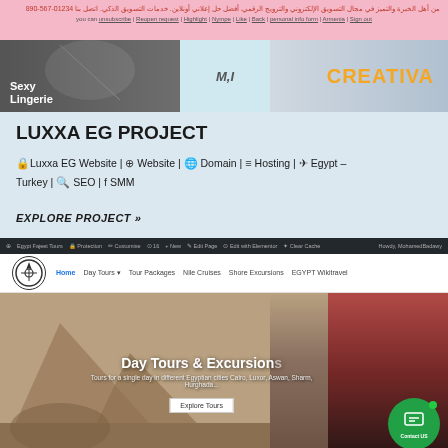Arabic header text with phone number and links
[Figure (screenshot): Banner strip with Sexy Lingerie model photo on left, M,I text in center, and CREATIVA branding on right]
LUXXA EG PROJECT
Luxxa EG Website | Website | Domain | Hosting | Egypt – Turkey | SEO | SMM
EXPLORE PROJECT »
[Figure (screenshot): Screenshot of Egypt Fajeet Tours website showing WordPress admin bar, navigation with Home, Day Tours, Tour Packages, Nile Cruises, Shore Excursions, EGYPT Wikitravel, and hero image of Egyptian pyramids with woman in red hijab. Text: Day Tours & Excursions. Tours for a single day in different Egyptian cities Cairo, Luxor, Aswan, Sharm, Hurghada... Explore Tours button. Contact US chat bubble.]